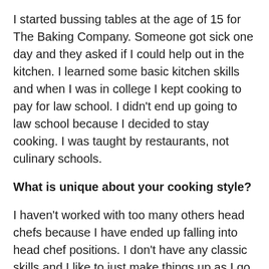I started bussing tables at the age of 15 for The Baking Company. Someone got sick one day and they asked if I could help out in the kitchen. I learned some basic kitchen skills and when I was in college I kept cooking to pay for law school. I didn't end up going to law school because I decided to stay cooking. I was taught by restaurants, not culinary schools.
What is unique about your cooking style?
I haven't worked with too many others head chefs because I have ended up falling into head chef positions. I don't have any classic skills and I like to just make things up as I go.